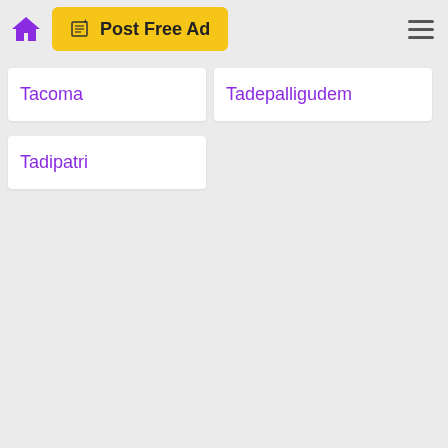Post Free Ad
Tacoma
Tadepalligudem
Tadipatri